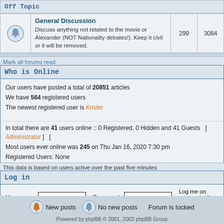Off Topic
|  | Forum | Topics | Posts |
| --- | --- | --- | --- |
| [icon] | General Discussion
Discuss anything not related to the movie or Alexander (NOT Nationality debates!). Keep it civil or it will be removed. | 299 | 3084 |
Mark all forums read
Who is Online
Our users have posted a total of 20851 articles
We have 564 registered users
The newest registered user is Krister
In total there are 41 users online :: 0 Registered, 0 Hidden and 41 Guests  [ Administrator ]  [
Most users ever online was 245 on Thu Jan 16, 2020 7:30 pm
Registered Users: None
This data is based on users active over the past five minutes
Log in
Username:  Password:  Log me on automatically each
New posts  No new posts  Forum is locked
Powered by phpBB © 2001, 2002 phpBB Group